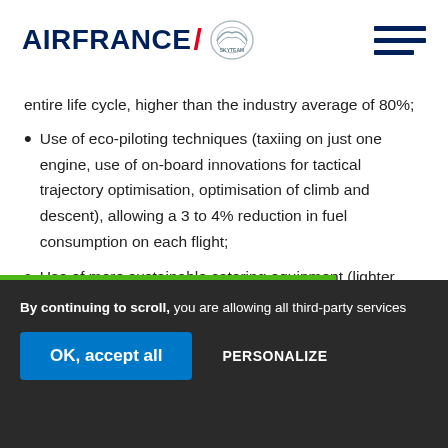AIRFRANCE
entire life cycle, higher than the industry average of 80%;
Use of eco-piloting techniques (taxiing on just one engine, use of on-board innovations for tactical trajectory optimisation, optimisation of climb and descent), allowing a 3 to 4% reduction in fuel consumption on each flight;
Use of more sustainable catering equipment (lighter, new generation meal trolley, recycled and
By continuing to scroll, you are allowing all third-party services